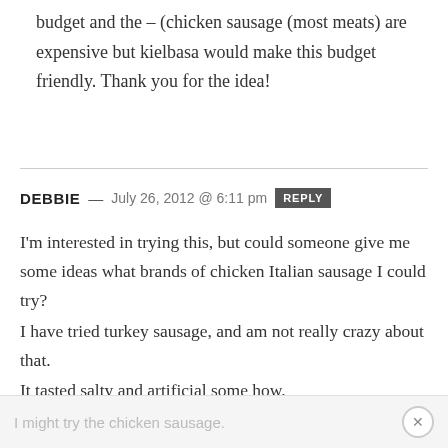budget and the – (chicken sausage (most meats) are expensive but kielbasa would make this budget friendly. Thank you for the idea!
DEBBIE — July 26, 2012 @ 6:11 pm REPLY
I'm interested in trying this, but could someone give me some ideas what brands of chicken Italian sausage I could try?
I have tried turkey sausage, and am not really crazy about that.
It tasted salty and artificial some how.
I might try the chicken sausage.